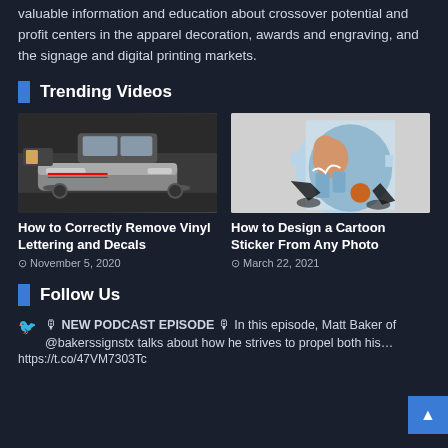valuable information and education about crossover potential and profit centers in the apparel decoration, awards and engraving, and the signage and digital printing markets.
Trending Videos
[Figure (photo): Thumbnail image of a person removing vinyl lettering from a car]
[Figure (photo): Thumbnail image of a basketball player cartoon sticker design]
How to Correctly Remove Vinyl Lettering and Decals
November 5, 2020
How to Design a Cartoon Sticker From Any Photo
March 22, 2021
Follow Us
🎙 NEW PODCAST EPISODE 🎙 In this episode, Matt Baker of @bakerssignstx talks about how he strives to propel both his…
https://t.co/47VM7303Tc